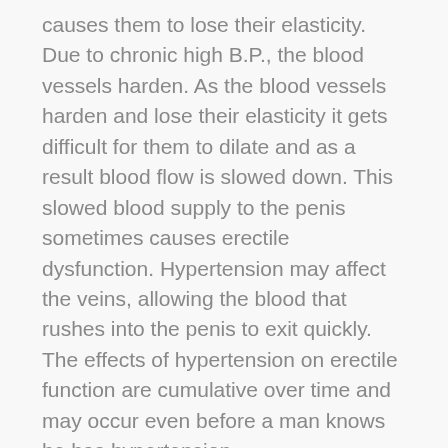causes them to lose their elasticity. Due to chronic high B.P., the blood vessels harden. As the blood vessels harden and lose their elasticity it gets difficult for them to dilate and as a result blood flow is slowed down. This slowed blood supply to the penis sometimes causes erectile dysfunction. Hypertension may affect the veins, allowing the blood that rushes into the penis to exit quickly. The effects of hypertension on erectile function are cumulative over time and may occur even before a man knows he has hypertension.
Some anti-hypertensive medicines can also cause erectile dysfunction. Medications like Diuretics (water tablets) and beta blockers can cause this problem, but it generally doesn't...